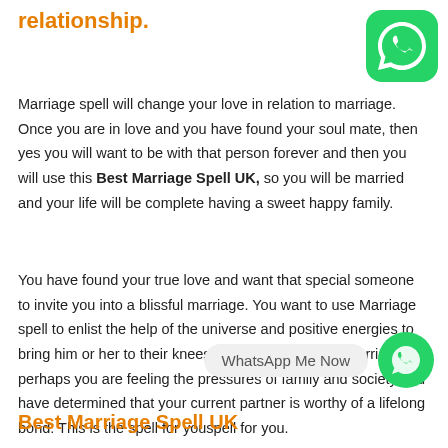relationship.
[Figure (logo): WhatsApp green icon logo in top right corner]
Marriage spell will change your love in relation to marriage. Once you are in love and you have found your soul mate, then yes you will want to be with that person forever and then you will use this Best Marriage Spell UK, so you will be married and your life will be complete having a sweet happy family.
You have found your true love and want that special someone to invite you into a blissful marriage. You want to use Marriage spell to enlist the help of the universe and positive energies to bring him or her to their knees in the proposition of marriage. Or perhaps you are feeling the pressures of family and society and have determined that your current partner is worthy of a lifelong bond. This is the spell for you.
[Figure (logo): WhatsApp green circle chat icon at bottom right with WhatsApp Me Now label]
Best Marriage Spell UK